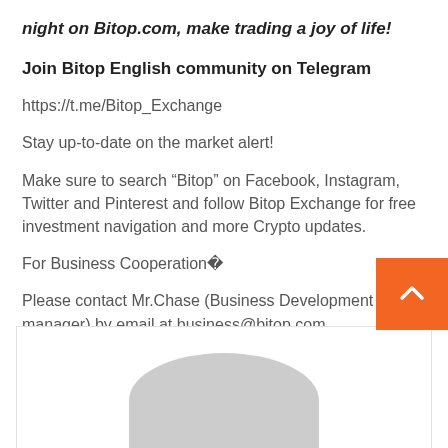night on Bitop.com, make trading a joy of life!
Join Bitop English community on Telegram
https://t.me/Bitop_Exchange
Stay up-to-date on the market alert!
Make sure to search “Bitop” on Facebook, Instagram, Twitter and Pinterest and follow Bitop Exchange for free investment navigation and more Crypto updates.
For Business Cooperation�
Please contact Mr.Chase (Business Development manager) by email at business@bitop.com
[Figure (photo): Partial view of a user profile card with a gray avatar placeholder at the bottom of the page, and an orange back-to-top button in the lower right corner.]